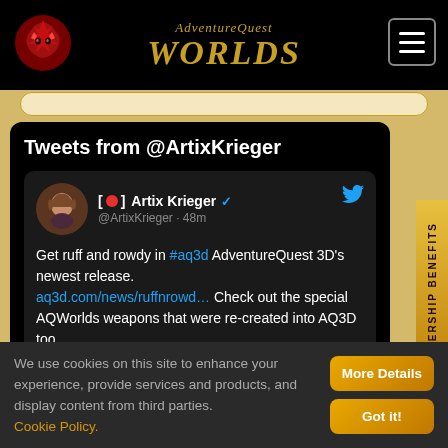[Figure (screenshot): AdventureQuest Worlds logo with dragon icon on black header bar]
Tweets from @ArtixKrieger
[🔴] Artix Krieger @ArtixKrieger · 48m
Get ruff and rowdy in #aq3d AdventureQuest 3D's newest release. aq3d.com/news/ruffnrowd… Check out the special AQWorlds weapons that were re-created into AQ3D too. instagr.am/p/ChabaMJuhZh/
MEMBERSHIP BENEFITS
We use cookies on this site to enhance your experience, provide services and products, and display content from third parties. Cookie Policy.